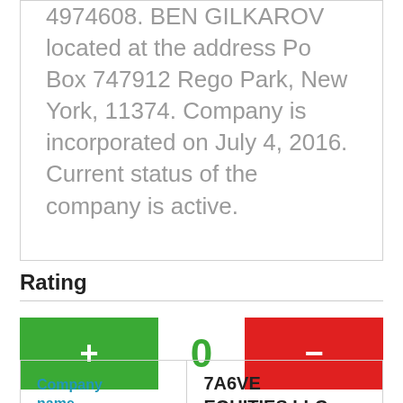4974608. BEN GILKAROV located at the address Po Box 747912 Rego Park, New York, 11374. Company is incorporated on July 4, 2016. Current status of the company is active.
Rating
| Company name |  |
| --- | --- |
| Company name | 7A6VE EQUITIES LLC |